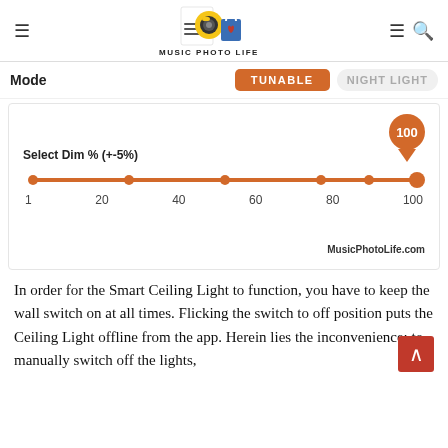MUSIC PHOTO LIFE
[Figure (screenshot): Mode selector showing TUNABLE (active/orange) and NIGHT LIGHT buttons, with a dimmer slider set to 100, ranging from 1 to 100, with orange track and marker bubble showing '100'. Watermark: MusicPhotoLife.com]
In order for the Smart Ceiling Light to function, you have to keep the wall switch on at all times. Flicking the switch to off position puts the Ceiling Light offline from the app. Herein lies the inconvenience: to manually switch off the lights,